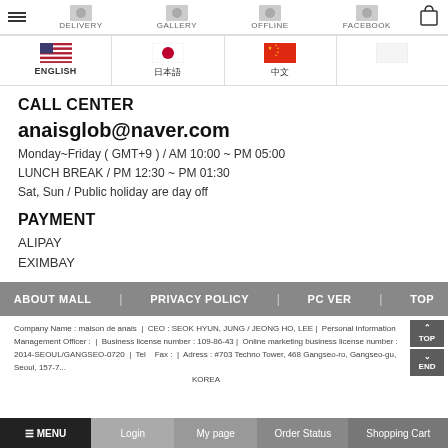DELIVERY | GALLERY | OFFLINE | FACEBOOK
[Figure (screenshot): Language selector row with US flag (ENGLISH), Japanese flag, Chinese flag, and empty cell]
CALL CENTER
anaisglob@naver.com
Monday~Friday ( GMT+9 ) / AM 10:00 ~ PM 05:00
LUNCH BREAK / PM 12:30 ~ PM 01:30
Sat, Sun / Public holiday are day off
PAYMENT
ALIPAY
EXIMBAY
ABOUT MALL | PRIVACY POLICY | PC VER | TOP
Company Name : maison de anais | CEO : SEOK HYUN, JUNG / JEONG HO, LEE | Personal Information Management Officer : | Business license number : 109-86-43... | Online marketing business license number : 2014-SEOUL/GANGSEO-0720 | Tel... Fax : | Adress : #703 Techno Tower, 468 Gangseo-ro, Gangseo-gu, Seoul, 157-7... KOREA
≡ MENU | Login | My page | Order Status | Shopping Cart